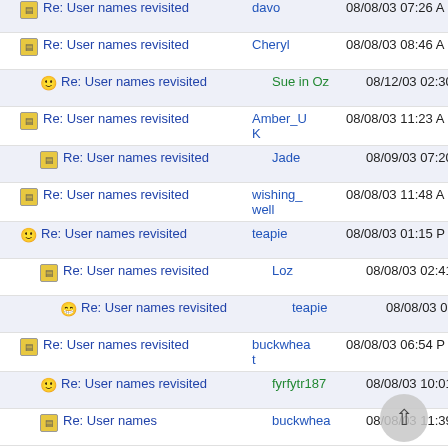Re: User names revisited | davo | 08/08/03 07:26 A
Re: User names revisited | Cheryl | 08/08/03 08:46 A
Re: User names revisited | Sue in Oz | 08/12/03 02:30 P
Re: User names revisited | Amber_UK | 08/08/03 11:23 A
Re: User names revisited | Jade | 08/09/03 07:20 P
Re: User names revisited | wishing_well | 08/08/03 11:48 A
Re: User names revisited | teapie | 08/08/03 01:15 P
Re: User names revisited | Loz | 08/08/03 02:41 P
Re: User names revisited | teapie | 08/08/03 02:54 P
Re: User names revisited | buckwheat | 08/08/03 06:54 P
Re: User names revisited | fyrfytr187 | 08/08/03 10:01 P
Re: User names | buckwheat | 08/08/03 11:39 P